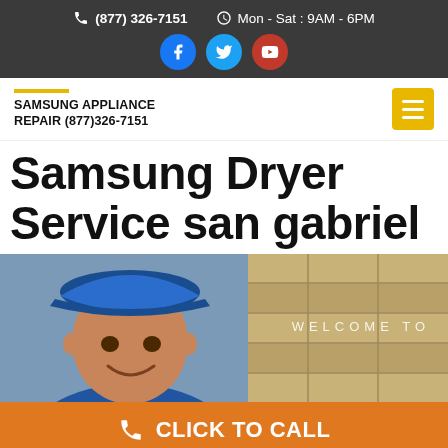(877) 326-7151   Mon - Sat : 9AM - 6PM
SAMSUNG APPLIANCE REPAIR (877)326-7151
Samsung Dryer Service san gabriel
[Figure (photo): Man in blue baseball cap smiling, appliance repair technician, with wooden background on right side. Text overlay reads WELCOME TO]
CLICK TO CALL